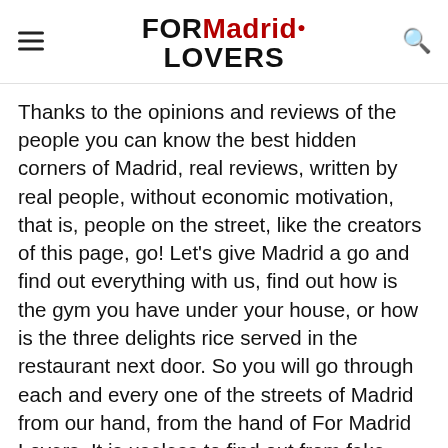FOR Madrid LOVERS
Thanks to the opinions and reviews of the people you can know the best hidden corners of Madrid, real reviews, written by real people, without economic motivation, that is, people on the street, like the creators of this page, go! Let's give Madrid a go and find out everything with us, find out how is the gym you have under your house, or how is the three delights rice served in the restaurant next door. So you will go through each and every one of the streets of Madrid from our hand, from the hand of For Madrid Lovers. It is useless to find out from fake reviews, people who charge for putting certain opinions and influenced actions that have nothing to do with what you are looking for. You are looking for real opinions, you are looking for a complete Madrid experience, and you are looking for ForMadridLovers.